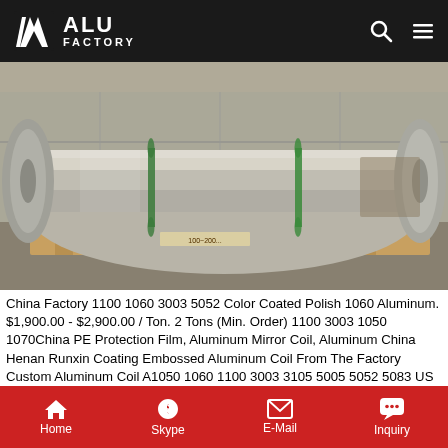ALU FACTORY
[Figure (photo): Large aluminum coil roll on wooden pallet in a factory/warehouse setting. The metallic silver roll has green binding straps around it.]
China Factory 1100 1060 3003 5052 Color Coated Polish 1060 Aluminum. $1,900.00 - $2,900.00 / Ton. 2 Tons (Min. Order) 1100 3003 1050 1070China PE Protection Film, Aluminum Mirror Coil, Aluminum China Henan Runxin Coating Embossed Aluminum Coil From The Factory Custom Aluminum Coil A1050 1060 1100 3003 3105 5005 5052 5083 US $ 2,000-3,000/Ton VideoAluminum sheet Factory,
Home  Skype  E-Mail  Inquiry